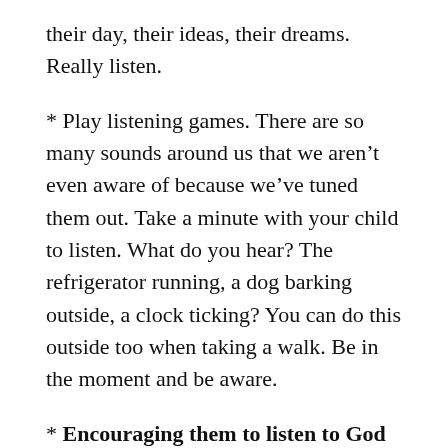their day, their ideas, their dreams. Really listen.
* Play listening games. There are so many sounds around us that we aren't even aware of because we've tuned them out. Take a minute with your child to listen. What do you hear? The refrigerator running, a dog barking outside, a clock ticking? You can do this outside too when taking a walk. Be in the moment and be aware.
* Encouraging them to listen to God – Get a simple Bible that they can read or look at. There are a lot of good ones out there. There's even a Bible Ap For Kids that you can download